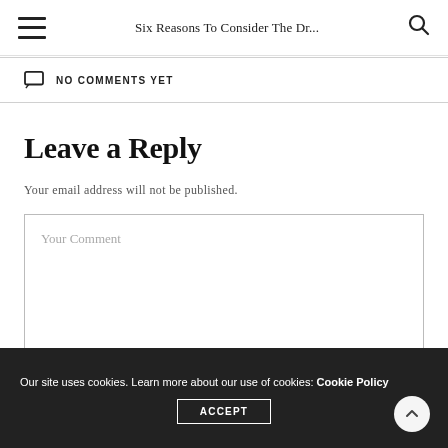Six Reasons To Consider The Dr...
NO COMMENTS YET
Leave a Reply
Your email address will not be published.
Your Comment
Our site uses cookies. Learn more about our use of cookies: Cookie Policy